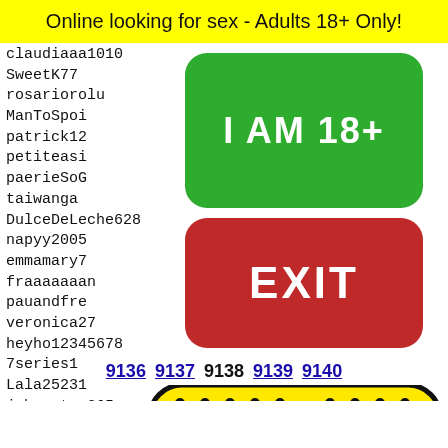Online looking for sex - Adults 18+ Only!
claudiaaa1010
SweetK77
rosariorolu
ManToSpoi
patrick12
petiteasi
paerieSoG
taiwanga
DulceDeLeche628
napyy2005
emmamary7
fraaaaaaan
pauandfre
veronica27
heyho12345678
7series1
Lala25231
johnorton365
Capri33
greenvilleYungNready07
luciam
feno02
3sandr
majaam
neff
jehvun
[Figure (other): Green button with text 'I AM 18+']
[Figure (other): Red EXIT button]
9136 9137 9138 9139 9140
[Figure (illustration): Snapchat ghost icon on yellow background with black dots pattern]